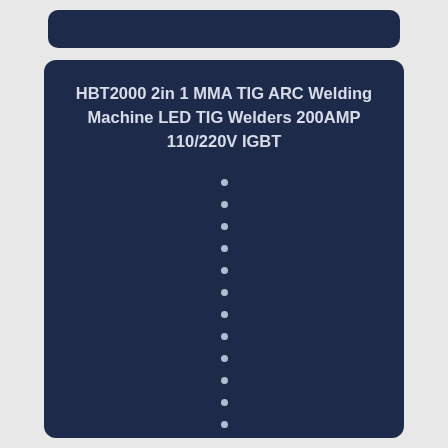HBT2000 2in 1 MMA TIG ARC Welding Machine LED TIG Welders 200AMP 110/220V IGBT
•
•
•
•
•
•
•
•
•
•
•
•
•